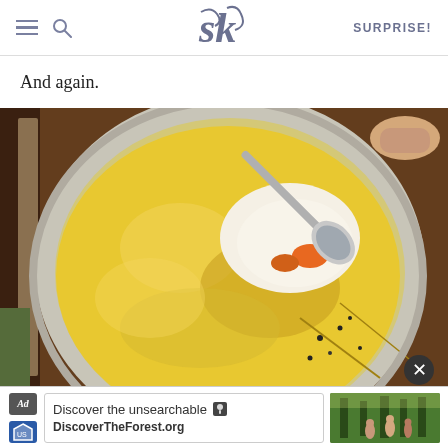SK | SURPRISE!
And again.
[Figure (photo): Overhead view of a bowl with a golden egg-battered or pastry-topped dish, with a spoon breaking through the crust revealing creamy filling with orange carrot pieces underneath, sprinkled with black pepper. A hand holds the spoon from the top right.]
[Figure (photo): Advertisement banner: 'Discover the unsearchable / DiscoverTheForest.org' with US Forest Service shield icon and image of hikers in a forest.]